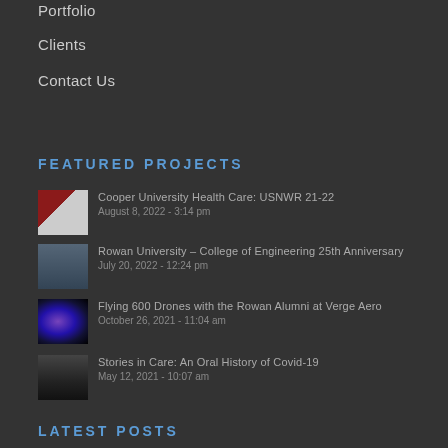Portfolio
Clients
Contact Us
Featured Projects
Cooper University Health Care: USNWR 21-22
August 8, 2022 - 3:14 pm
Rowan University – College of Engineering 25th Anniversary
July 20, 2022 - 12:24 pm
Flying 600 Drones with the Rowan Alumni at Verge Aero
October 26, 2021 - 11:04 am
Stories in Care: An Oral History of Covid-19
May 12, 2021 - 10:07 am
Latest Posts